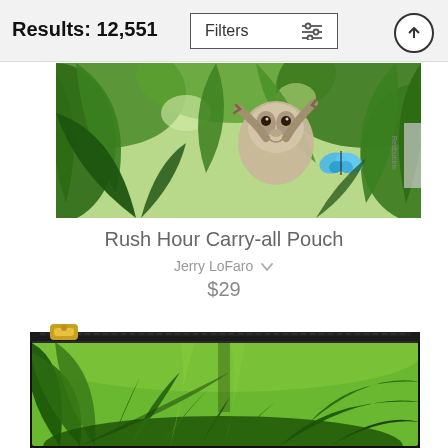Results: 12,551
[Figure (screenshot): Sloth hanging from tropical jungle foliage with a blue butterfly, product photo for carry-all pouch]
Rush Hour Carry-all Pouch
Jerry LoFaro ∨
$29
[Figure (photo): Carry-all pouch product photo showing dense tropical green jungle foliage with palm fronds, gold zipper at top]